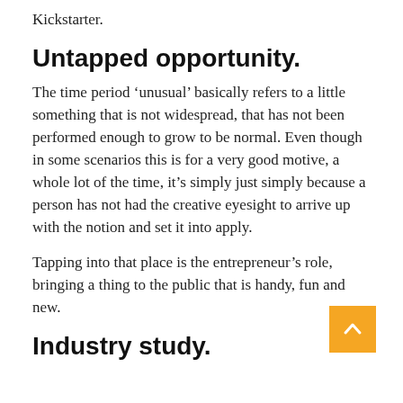Kickstarter.
Untapped opportunity.
The time period ‘unusual’ basically refers to a little something that is not widespread, that has not been performed enough to grow to be normal. Even though in some scenarios this is for a very good motive, a whole lot of the time, it’s simply just simply because a person has not had the creative eyesight to arrive up with the notion and set it into apply.
Tapping into that place is the entrepreneur’s role, bringing a thing to the public that is handy, fun and new.
Industry study.